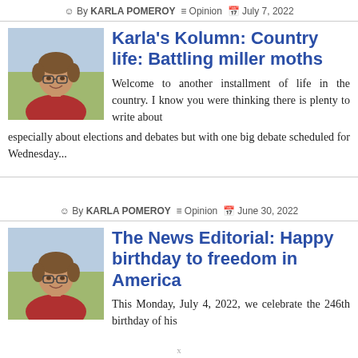By KARLA POMEROY  Opinion  July 7, 2022
[Figure (photo): Headshot photo of Karla Pomeroy, a woman with short brown hair and glasses, smiling, outdoors]
Karla's Kolumn: Country life: Battling miller moths
Welcome to another installment of life in the country. I know you were thinking there is plenty to write about especially about elections and debates but with one big debate scheduled for Wednesday...
By KARLA POMEROY  Opinion  June 30, 2022
[Figure (photo): Headshot photo of Karla Pomeroy, a woman with short brown hair and glasses, smiling, outdoors]
The News Editorial: Happy birthday to freedom in America
This Monday, July 4, 2022, we celebrate the 246th birthday of his